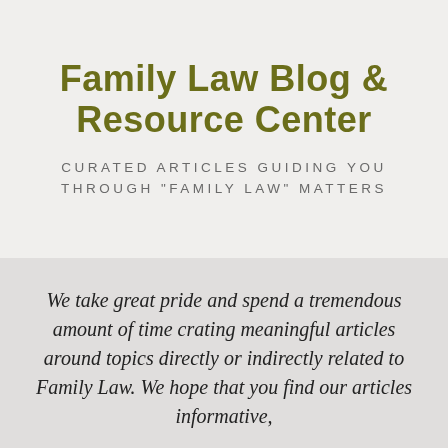Family Law Blog & Resource Center
CURATED ARTICLES GUIDING YOU THROUGH "FAMILY LAW" MATTERS
We take great pride and spend a tremendous amount of time crating meaningful articles around topics directly or indirectly related to Family Law. We hope that you find our articles informative,